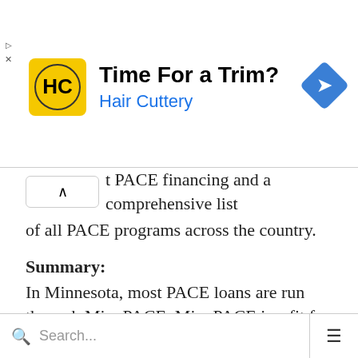[Figure (advertisement): Hair Cuttery advertisement banner with logo (HC initials on yellow background), headline 'Time For a Trim?', subtext 'Hair Cuttery', and a blue diamond navigation icon on the right.]
t PACE financing and a comprehensive list of all PACE programs across the country.
Summary:
In Minnesota, most PACE loans are run through MinnPACE. MinnPACE is a fit for most industries including farms, commercial office buildings, nonprofit organizations (including places of worship), and multi-tenant buildings. Common investments include solar panels, HVAC
Search...